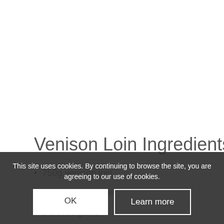Venison Loin Ingredients:
750g venison loin
1 tsp black pepper
2 cloves garlic
2 tbsp olive oil
This site uses cookies. By continuing to browse the site, you are agreeing to our use of cookies.